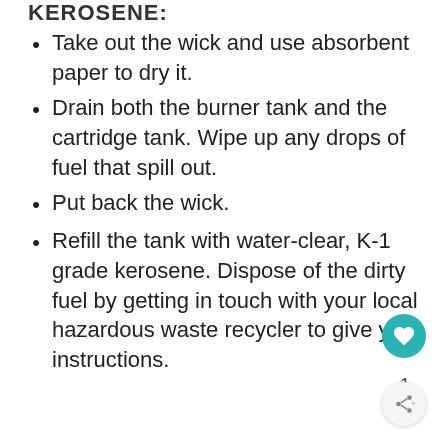KEROSENE:
Take out the wick and use absorbent paper to dry it.
Drain both the burner tank and the cartridge tank. Wipe up any drops of fuel that spill out.
Put back the wick.
Refill the tank with water-clear, K-1 grade kerosene. Dispose of the dirty fuel by getting in touch with your local hazardous waste recycler to give you instructions.
1